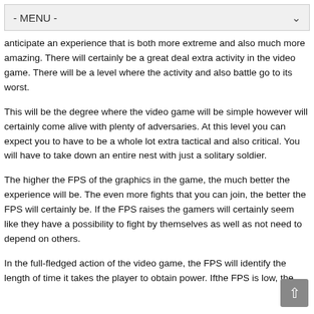- MENU -
anticipate an experience that is both more extreme and also much more amazing. There will certainly be a great deal extra activity in the video game. There will be a level where the activity and also battle go to its worst.
This will be the degree where the video game will be simple however will certainly come alive with plenty of adversaries. At this level you can expect you to have to be a whole lot extra tactical and also critical. You will have to take down an entire nest with just a solitary soldier.
The higher the FPS of the graphics in the game, the much better the experience will be. The even more fights that you can join, the better the FPS will certainly be. If the FPS raises the gamers will certainly seem like they have a possibility to fight by themselves as well as not need to depend on others.
In the full-fledged action of the video game, the FPS will identify the length of time it takes the player to obtain power. Ifthe FPS is low, the